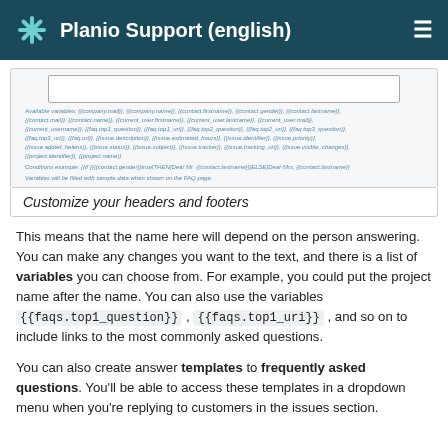Planio Support (english)
[Figure (screenshot): Screenshot of a form showing available variables text area with variable list, condition example, and variables note.]
Customize your headers and footers
This means that the name here will depend on the person answering. You can make any changes you want to the text, and there is a list of variables you can choose from. For example, you could put the project name after the name. You can also use the variables {{faqs.top1_question}} , {{faqs.top1_uri}} , and so on to include links to the most commonly asked questions.
You can also create answer templates to frequently asked questions. You'll be able to access these templates in a dropdown menu when you're replying to customers in the issues section.